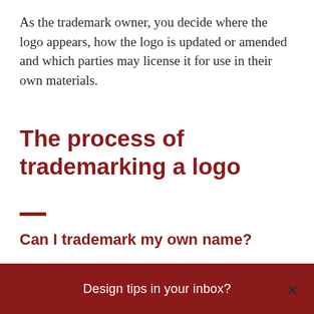As the trademark owner, you decide where the logo appears, how the logo is updated or amended and which parties may license it for use in their own materials.
The process of trademarking a logo
Can I trademark my own name?
Yes, however it needs to be for a business...
Design tips in your inbox?